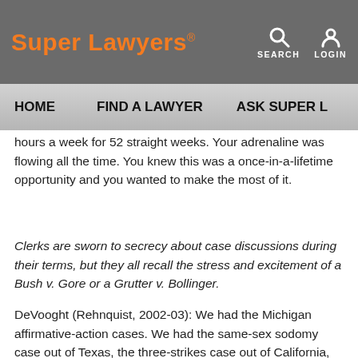Super Lawyers® | SEARCH | LOGIN
HOME | FIND A LAWYER | ASK SUPER L…
hours a week for 52 straight weeks. Your adrenaline was flowing all the time. You knew this was a once-in-a-lifetime opportunity and you wanted to make the most of it.
Clerks are sworn to secrecy about case discussions during their terms, but they all recall the stress and excitement of a Bush v. Gore or a Grutter v. Bollinger.
DeVooght (Rehnquist, 2002-03): We had the Michigan affirmative-action cases. We had the same-sex sodomy case out of Texas, the three-strikes case out of California, the cross-burning case Virginia v. Black. There were a tremendous number of really hot-button cases. My job was